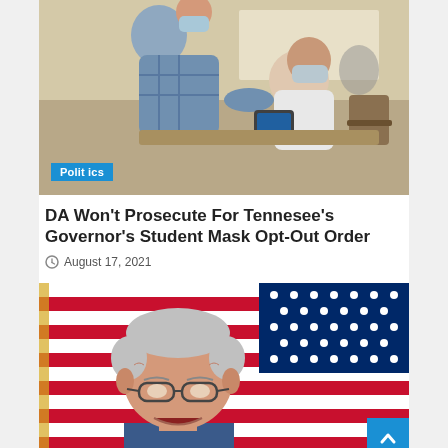[Figure (photo): A masked teacher helping a student wearing a face mask at a desk in a classroom setting.]
DA Won't Prosecute For Tennesee's Governor's Student Mask Opt-Out Order
August 17, 2021
[Figure (photo): An older grey-haired man speaking in front of an American flag, appearing to be a politician at a press conference.]